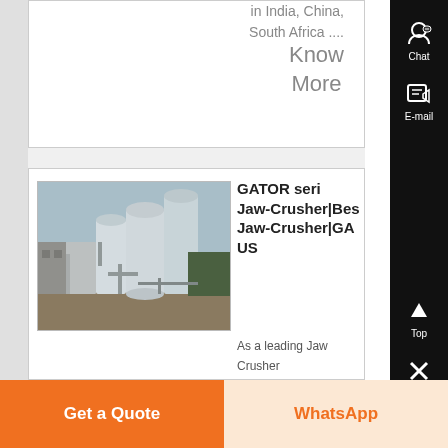in India, China, South Africa ....
Know More
[Figure (photo): Industrial facility with large cylindrical silos and processing equipment]
GATOR series Jaw-Crusher|Best Jaw-Crusher|GATOR US
As a leading Jaw Crusher manufacturer in China, GATOR i...
Get a Quote
WhatsApp